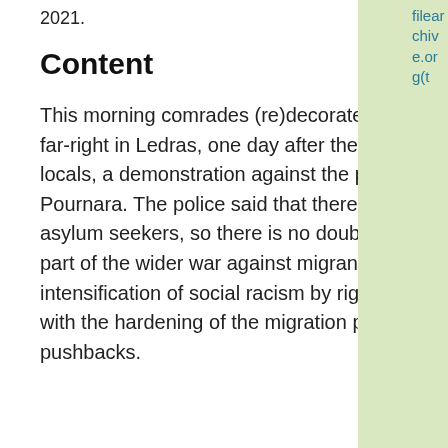2021.
Content
This morning comrades (re)decorated the Christmas tree put by the far-right in Ledras, one day after they organised, together with racist locals, a demonstration against the presence of asylum seekers at Pournara. The police said that there were no reports regarding the asylum seekers, so there is no doubt of their intentions: they are a part of the wider war against migrants and refugees. The intensification of social racism by right and far-right moves in parallel with the hardening of the migration policy, the deportations, the pushbacks.